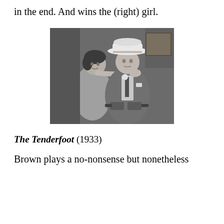in the end. And wins the (right) girl.
[Figure (photo): Black and white still photo of a man in a cowboy hat and suit holding guns, with a woman behind him also holding a gun and grabbing his shoulder.]
The Tenderfoot (1933)
Brown plays a no-nonsense but nonetheless